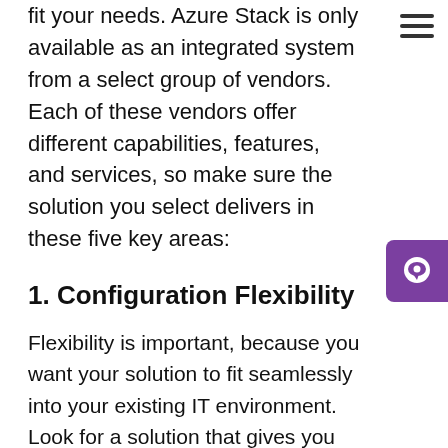fit your needs. Azure Stack is only available as an integrated system from a select group of vendors. Each of these vendors offer different capabilities, features, and services, so make sure the solution you select delivers in these five key areas:
1. Configuration Flexibility
Flexibility is important, because you want your solution to fit seamlessly into your existing IT environment. Look for a solution that gives you the greatest number of configuration options possible. After all, the more customizable a solution is, the more compatible it will be with your current environment and future needs. As a fully customizable solution, you want: